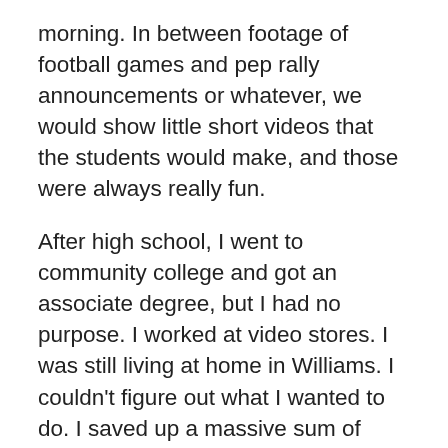morning. In between footage of football games and pep rally announcements or whatever, we would show little short videos that the students would make, and those were always really fun.
After high school, I went to community college and got an associate degree, but I had no purpose. I worked at video stores. I was still living at home in Williams. I couldn't figure out what I wanted to do. I saved up a massive sum of maybe $2,000, and I blew more than half of it on a crappy video camera, which I used to shoot a western with a girlfriend. I would drive four hours up from southern Oregon to Portland, Oregon to edit it on my friend's computer. I